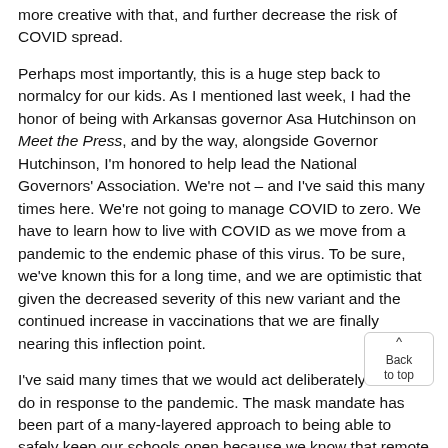more creative with that, and further decrease the risk of COVID spread.
Perhaps most importantly, this is a huge step back to normalcy for our kids. As I mentioned last week, I had the honor of being with Arkansas governor Asa Hutchinson on Meet the Press, and by the way, alongside Governor Hutchinson, I'm honored to help lead the National Governors' Association. We're not – and I've said this many times here. We're not going to manage COVID to zero. We have to learn how to live with COVID as we move from a pandemic to the endemic phase of this virus. To be sure, we've known this for a long time, and we are optimistic that given the decreased severity of this new variant and the continued increase in vaccinations that we are finally nearing this inflection point.
I've said many times that we would act deliberately in all we do in response to the pandemic. The mask mandate has been part of a many-layered approach to being able to safely keep our schools open because we know that remote learning is an inadequate substitute for learning in person. We have tried, as we've said many times, to meet the moment, not to undershoot it putting lives at risk or to overshoot it only adding to mental health and stress that we know exists up and down the state.
The numbers bear out the effectiveness of this approach you see here over the past number of weeks. Yes, the overall rate of infection among all students and educational staff, regardless of where that exposure occurred, has dropped off significantly over the past month, and by the way, this is not with regard specific only